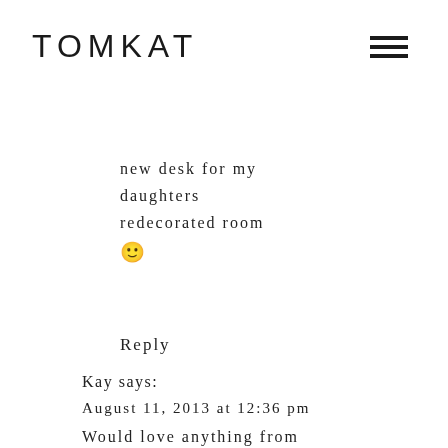TOMKAT
new desk for my daughters redecorated room 🙂
Reply
Kay says:
August 11, 2013 at 12:36 pm
Would love anything from